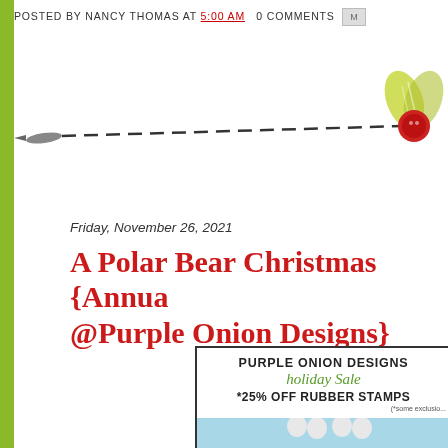POSTED BY NANCY THOMAS AT 5:00 AM   0 COMMENTS
[Figure (illustration): Decorative divider with a dark pencil/tassel on the left end, a dashed line in the middle, and a red button with green striped ribbon bow on the right end]
Friday, November 26, 2021
A Polar Bear Christmas {Annual @Purple Onion Designs}
[Figure (screenshot): Purple Onion Designs Holiday Sale advertisement showing 'PURPLE ONION DESIGNS holiday Sale *25% OFF RUBBER STAMPS (*some exclusions)' with an image of polar bears at the bottom]